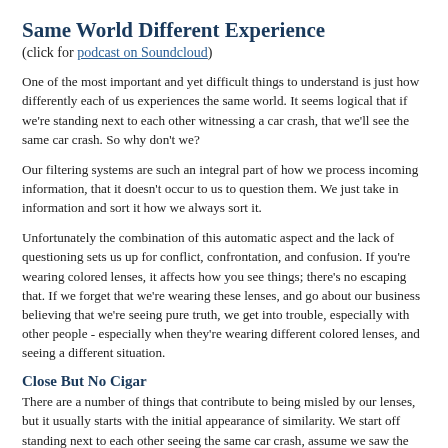Same World Different Experience
(click for podcast on Soundcloud)
One of the most important and yet difficult things to understand is just how differently each of us experiences the same world. It seems logical that if we're standing next to each other witnessing a car crash, that we'll see the same car crash. So why don't we?
Our filtering systems are such an integral part of how we process incoming information, that it doesn't occur to us to question them. We just take in information and sort it how we always sort it.
Unfortunately the combination of this automatic aspect and the lack of questioning sets us up for conflict, confrontation, and confusion. If you're wearing colored lenses, it affects how you see things; there's no escaping that. If we forget that we're wearing these lenses, and go about our business believing that we're seeing pure truth, we get into trouble, especially with other people - especially when they're wearing different colored lenses, and seeing a different situation.
Close But No Cigar
There are a number of things that contribute to being misled by our lenses, but it usually starts with the initial appearance of similarity. We start off standing next to each other seeing the same car crash, assume we saw the same thing, and then when our descriptions are only off by a little bit we figure somebody must be more accurate than the other. Somebody is more right, and somebody